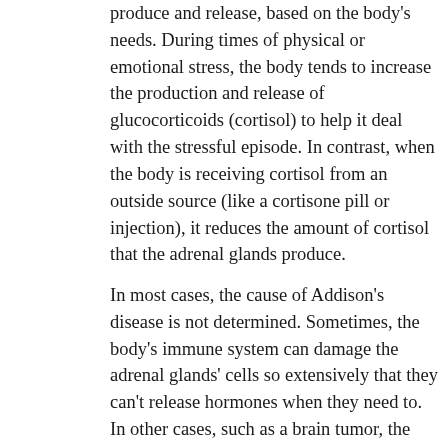produce and release, based on the body's needs. During times of physical or emotional stress, the body tends to increase the production and release of glucocorticoids (cortisol) to help it deal with the stressful episode. In contrast, when the body is receiving cortisol from an outside source (like a cortisone pill or injection), it reduces the amount of cortisol that the adrenal glands produce.
In most cases, the cause of Addison's disease is not determined. Sometimes, the body's immune system can damage the adrenal glands' cells so extensively that they can't release hormones when they need to. In other cases, such as a brain tumor, the part of the brain that should release ACTH is unable to. However, Addison's disease can also occur if a pet that is receiving cortisol medication suddenly stops getting it. In this case, the body has reduced its own cortisol